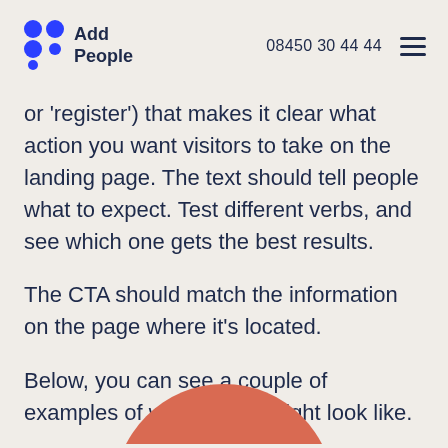Add People | 08450 30 44 44
or 'register') that makes it clear what action you want visitors to take on the landing page. The text should tell people what to expect. Test different verbs, and see which one gets the best results.
The CTA should match the information on the page where it's located.
Below, you can see a couple of examples of what a CTA might look like.
[Figure (illustration): Partial view of a coral/salmon-colored semicircle at the bottom center of the page]